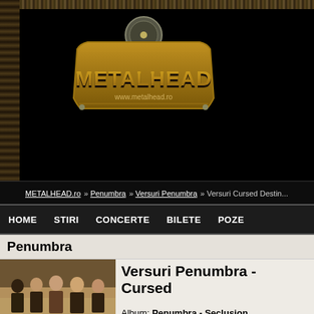[Figure (logo): METALHEAD logo with www.metalhead.ro text, gold colored metal styling on black background]
METALHEAD.ro » Penumbra » Versuri Penumbra » Versuri Cursed Destin...
HOME   STIRI   CONCERTE   BILETE   POZE
Penumbra
[Figure (photo): Band photo of Penumbra, group of people in dark clothing]
Versuri Penumbra - Cursed...
Album: Penumbra - Seclusion